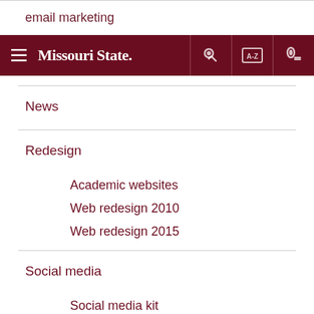email marketing
[Figure (screenshot): Missouri State University navigation bar with hamburger menu, logo, key icon, A-Z index icon, and search icon on dark red background]
News
Redesign
Academic websites
Web redesign 2010
Web redesign 2015
Social media
Social media kit
template
updates